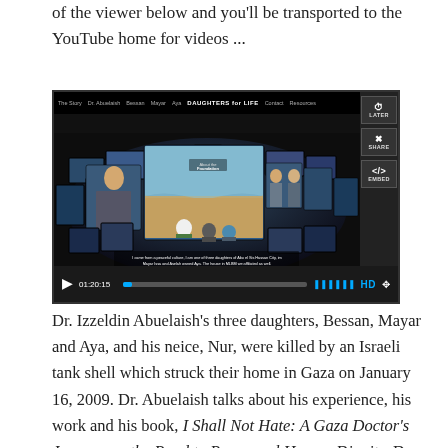of the viewer below and you'll be transported to the YouTube home for videos ...
[Figure (screenshot): Embedded YouTube video player showing the Daughters for Life foundation video. A curved panoramic screen display shows multiple panels with people on a beach. Three children/young people are seated on sand in the foreground. Video is paused showing timestamp 01:20:15. Controls include play button, progress bar, HD indicator.]
Dr. Izzeldin Abuelaish's three daughters, Bessan, Mayar and Aya, and his neice, Nur, were killed by an Israeli tank shell which struck their home in Gaza on January 16, 2009. Dr. Abuelaish talks about his experience, his work and his book, I Shall Not Hate: A Gaza Doctor's Journey on the Road to Peace and Human Dignity. Dr. Abuelaish spoke at Powell's